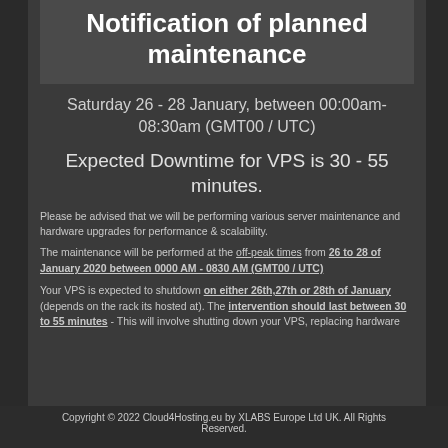Notification of planned maintenance
Saturday 26 - 28 January, between 00:00am-08:30am (GMT00 / UTC)
Expected Downtime for VPS is 30 - 55 minutes.
Please be advised that we will be performing various server maintenance and hardware upgrades for performance & scalability.
The maintenance will be performed at the off-peak times from 26 to 28 of January 2020 between 0000 AM - 0830 AM (GMT00 / UTC)
Your VPS is expected to shutdown on either 26th,27th or 28th of January (depends on the rack its hosted at). The intervention should last between 30 to 55 minutes - This will involve shutting down your VPS, replacing hardware
Copyright © 2022 Cloud4Hosting.eu by XLABS Europe Ltd UK. All Rights Reserved.